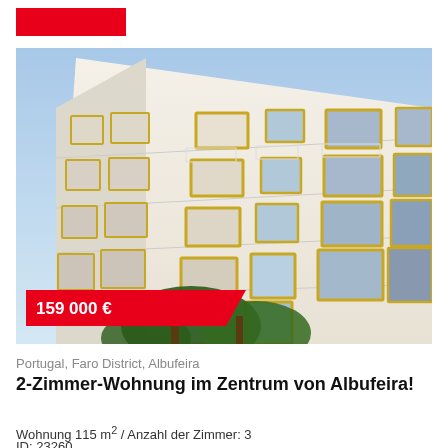[Figure (photo): Exterior view of a white multi-storey apartment building with yellow-framed windows and balconies, photographed from below against a blue sky, with trees in the foreground. A red price banner shows 159 000 €.]
Portugal, Faro District, Albufeira
2-Zimmer-Wohnung im Zentrum von Albufeira!
Wohnung 115 m² / Anzahl der Zimmer: 3
ID: 23260